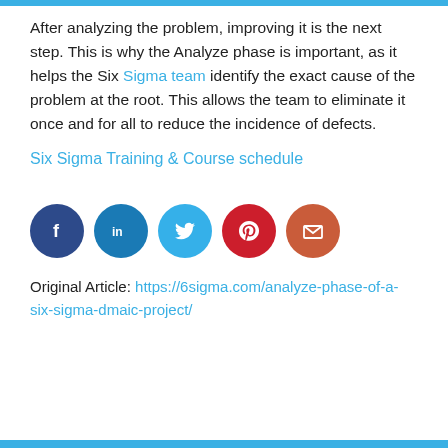After analyzing the problem, improving it is the next step. This is why the Analyze phase is important, as it helps the Six Sigma team identify the exact cause of the problem at the root. This allows the team to eliminate it once and for all to reduce the incidence of defects.
Six Sigma Training & Course schedule
[Figure (infographic): Five social media share icons in circles: Facebook (dark blue), LinkedIn (blue), Twitter (light blue), Pinterest (red), Email (orange-red)]
Original Article: https://6sigma.com/analyze-phase-of-a-six-sigma-dmaic-project/